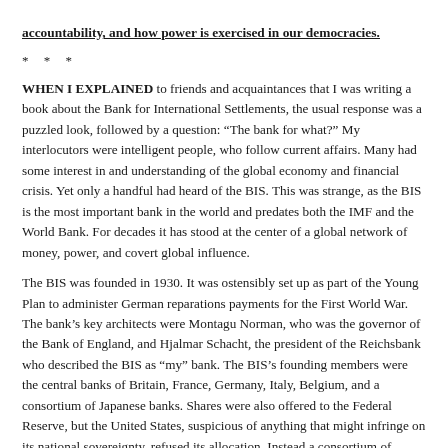accountability, and how power is exercised in our democracies.
* * *
WHEN I EXPLAINED to friends and acquaintances that I was writing a book about the Bank for International Settlements, the usual response was a puzzled look, followed by a question: “The bank for what?” My interlocutors were intelligent people, who follow current affairs. Many had some interest in and understanding of the global economy and financial crisis. Yet only a handful had heard of the BIS. This was strange, as the BIS is the most important bank in the world and predates both the IMF and the World Bank. For decades it has stood at the center of a global network of money, power, and covert global influence.
The BIS was founded in 1930. It was ostensibly set up as part of the Young Plan to administer German reparations payments for the First World War. The bank’s key architects were Montagu Norman, who was the governor of the Bank of England, and Hjalmar Schacht, the president of the Reichsbank who described the BIS as “my” bank. The BIS’s founding members were the central banks of Britain, France, Germany, Italy, Belgium, and a consortium of Japanese banks. Shares were also offered to the Federal Reserve, but the United States, suspicious of anything that might infringe on its national sovereignty, refused its allocation. Instead a consortium of commercial banks took up the shares: J. P. Morgan, the First National Bank of New York, and the First National Bank of Chicago.